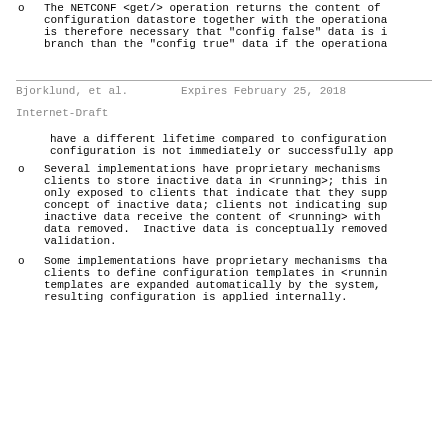The NETCONF <get/> operation returns the content of configuration datastore together with the operational is therefore necessary that "config false" data is i branch than the "config true" data if the operational
Bjorklund, et al.        Expires February 25, 2018
Internet-Draft
have a different lifetime compared to configuration configuration is not immediately or successfully app
Several implementations have proprietary mechanisms clients to store inactive data in <running>; this in only exposed to clients that indicate that they supp concept of inactive data; clients not indicating sup inactive data receive the content of <running> with data removed.  Inactive data is conceptually removed validation.
Some implementations have proprietary mechanisms tha clients to define configuration templates in <runnin templates are expanded automatically by the system, resulting configuration is applied internally.